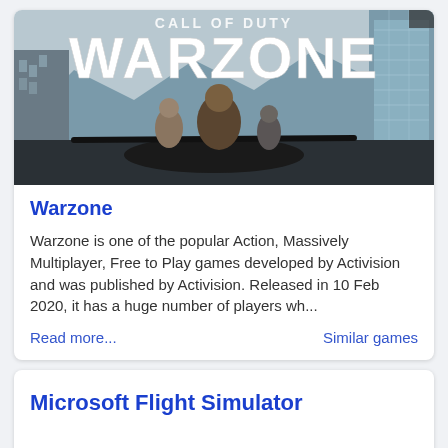[Figure (screenshot): Call of Duty Warzone promotional banner image showing soldiers on a helicopter with WARZONE text in large white letters over a cityscape background]
Warzone
Warzone is one of the popular Action, Massively Multiplayer, Free to Play games developed by Activision and was published by Activision. Released in 10 Feb 2020, it has a huge number of players wh...
Read more...    Similar games
Microsoft Flight Simulator